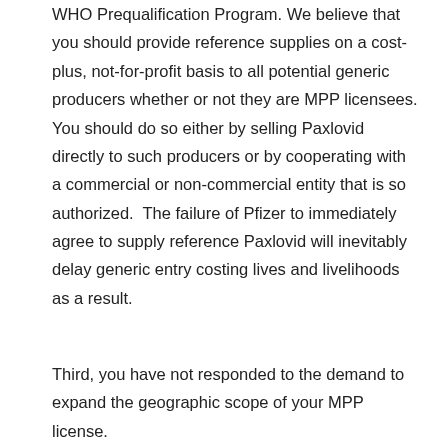WHO Prequalification Program. We believe that you should provide reference supplies on a cost-plus, not-for-profit basis to all potential generic producers whether or not they are MPP licensees. You should do so either by selling Paxlovid directly to such producers or by cooperating with a commercial or non-commercial entity that is so authorized. The failure of Pfizer to immediately agree to supply reference Paxlovid will inevitably delay generic entry costing lives and livelihoods as a result.
Third, you have not responded to the demand to expand the geographic scope of your MPP license.